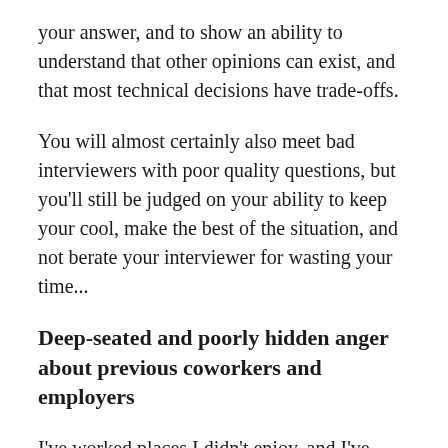your answer, and to show an ability to understand that other opinions can exist, and that most technical decisions have trade-offs.
You will almost certainly also meet bad interviewers with poor quality questions, but you'll still be judged on your ability to keep your cool, make the best of the situation, and not berate your interviewer for wasting your time...
Deep-seated and poorly hidden anger about previous coworkers and employers
I've worked places I didn't enjoy, and I've worked with people I hope I'll never see again. I've interviewed places because I was desperate to get out of the toxic environment I was working in.